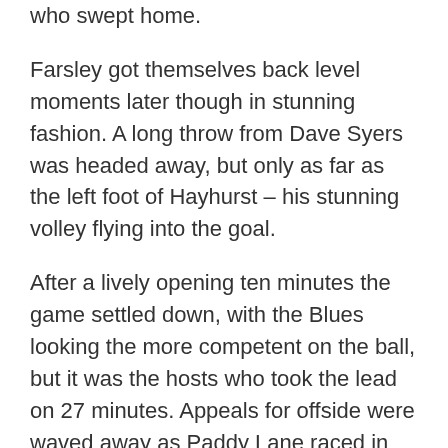who swept home.
Farsley got themselves back level moments later though in stunning fashion. A long throw from Dave Syers was headed away, but only as far as the left foot of Hayhurst – his stunning volley flying into the goal.
After a lively opening ten minutes the game settled down, with the Blues looking the more competent on the ball, but it was the hosts who took the lead on 27 minutes. Appeals for offside were waved away as Paddy Lane raced in behind the defence on the left, his ball across goal felt kindly into the path of Spencer who had the simplest of tasks in scoring from a matter of yards out.
Chester though were still playing with plenty of